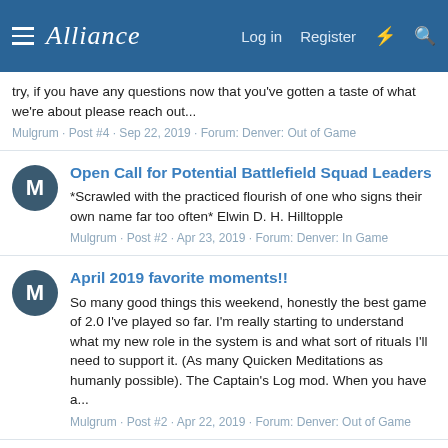Alliance · Log in · Register
try, if you have any questions now that you've gotten a taste of what we're about please reach out...
Mulgrum · Post #4 · Sep 22, 2019 · Forum: Denver: Out of Game
Open Call for Potential Battlefield Squad Leaders
*Scrawled with the practiced flourish of one who signs their own name far too often* Elwin D. H. Hilltopple
Mulgrum · Post #2 · Apr 23, 2019 · Forum: Denver: In Game
April 2019 favorite moments!!
So many good things this weekend, honestly the best game of 2.0 I've played so far. I'm really starting to understand what my new role in the system is and what sort of rituals I'll need to support it. (As many Quicken Meditations as humanly possible). The Captain's Log mod. When you have a...
Mulgrum · Post #2 · Apr 22, 2019 · Forum: Denver: Out of Game
Who is the proprietor of The Captain's Log?
The Captain's Log is currently under the management of Gwen Harper, who is more distressed than any to hear of the troubles